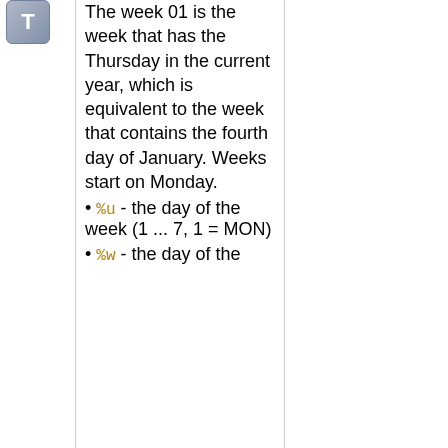[Figure (other): Icon with letter T on grey rounded square button]
The week 01 is the week that has the Thursday in the current year, which is equivalent to the week that contains the fourth day of January. Weeks start on Monday.
%u - the day of the week (1 ... 7, 1 = MON)
%w - the day of the